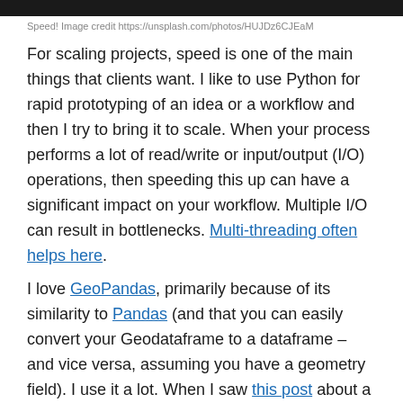[Figure (photo): Dark/black image bar at top of page (cropped photo)]
Speed! Image credit https://unsplash.com/photos/HUJDz6CJEaM
For scaling projects, speed is one of the main things that clients want. I like to use Python for rapid prototyping of an idea or a workflow and then I try to bring it to scale. When your process performs a lot of read/write or input/output (I/O) operations, then speeding this up can have a significant impact on your workflow. Multiple I/O can result in bottlenecks. Multi-threading often helps here.
I love GeoPandas, primarily because of its similarity to Pandas (and that you can easily convert your Geodataframe to a dataframe – and vice versa, assuming you have a geometry field). I use it a lot. When I saw this post about a new library called geofeather, and that it was written precisely for speeding up read and write with GeoPandas, I wanted to check it out. Please do go and